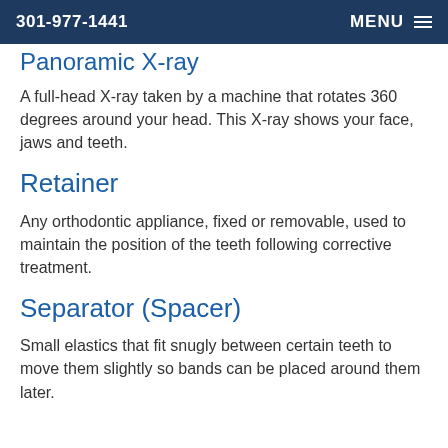301-977-1441   MENU
Panoramic X-ray
A full-head X-ray taken by a machine that rotates 360 degrees around your head. This X-ray shows your face, jaws and teeth.
Retainer
Any orthodontic appliance, fixed or removable, used to maintain the position of the teeth following corrective treatment.
Separator (Spacer)
Small elastics that fit snugly between certain teeth to move them slightly so bands can be placed around them later.